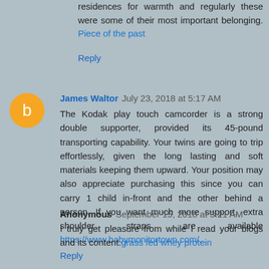residences for warmth and regularly these were some of their most important belonging. Piece of the past
Reply
James Waltor July 23, 2018 at 5:17 AM
The Kodak play touch camcorder is a strong double supporter, provided its 45-pound transporting capability. Your twins are going to trip effortlessly, given the long lasting and soft materials keeping them upward. Your position may also appreciate purchasing this since you can carry 1 child in-front and the other behind a person. If you want much more support, extra shoulder straps are available https://www.babymonitortown.com/.
Reply
Anonymous September 15, 2018 at 3:21 AM
I truly get pleasure from while I read your blogs and its content.grass fed whey protein
Reply